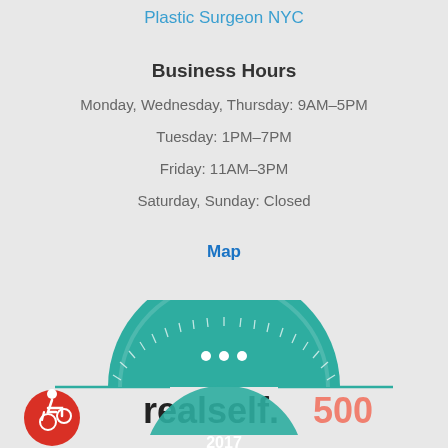Plastic Surgeon NYC
Business Hours
Monday, Wednesday, Thursday: 9AM–5PM
Tuesday: 1PM–7PM
Friday: 11AM–3PM
Saturday, Sunday: Closed
Map
[Figure (logo): RealSelf 500 badge with teal semicircle design and year 2017, plus accessibility icon in red circle at bottom left]